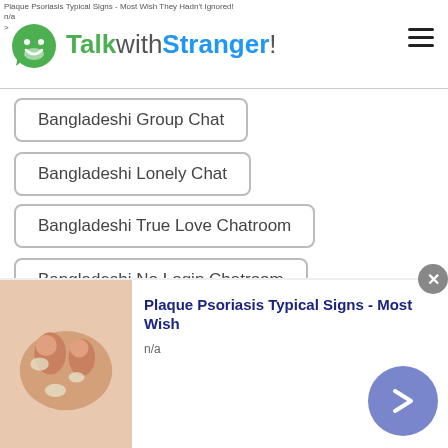TalkwithStranger!
Bangladeshi Group Chat
Bangladeshi Lonely Chat
Bangladeshi True Love Chatroom
Bangladeshi No Login Chatroom
Bangladeshi Flirt Chat
Bangladeshi Girl Talk
Bangladeshi Talk
Bangladeshi Talking
Bangladeshi Pillow Talk
Bangladeshi Meet New People
[Figure (infographic): Advertisement banner: Plaque Psoriasis Typical Signs - Most Wish They Hadn't Ignored! with skin image, n/a label, and a forward arrow button]